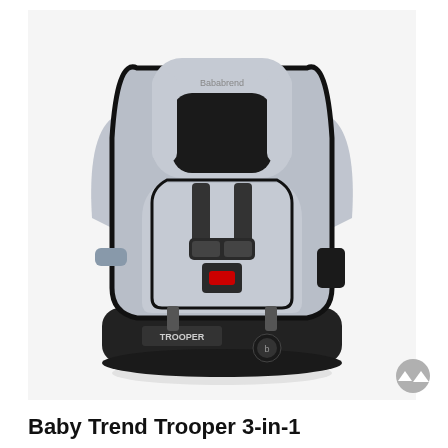[Figure (photo): Baby Trend Trooper 3-in-1 convertible car seat in gray and black colorway. The car seat has a light gray fabric upholstery with black side bolsters and base. It features a 5-point harness with chest clip, head support cushion in black, and side wings. The base has a 'TROOPER' label on the front and a Baby Trend logo circle on the bottom front. A small gray cup holder is visible on the left arm. The seat is photographed on a white background.]
Baby Trend Trooper 3-in-1